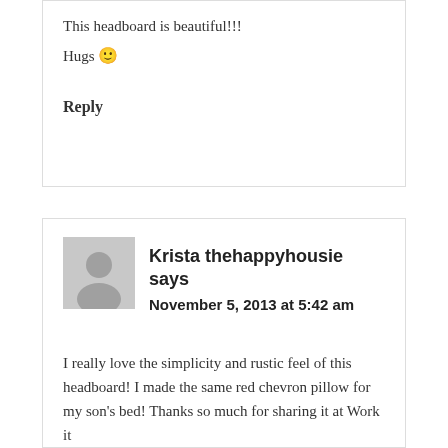This headboard is beautiful!!!
Hugs 🙂
Reply
Krista thehappyhousie says
November 5, 2013 at 5:42 am
I really love the simplicity and rustic feel of this headboard! I made the same red chevron pillow for my son's bed! Thanks so much for sharing it at Work it